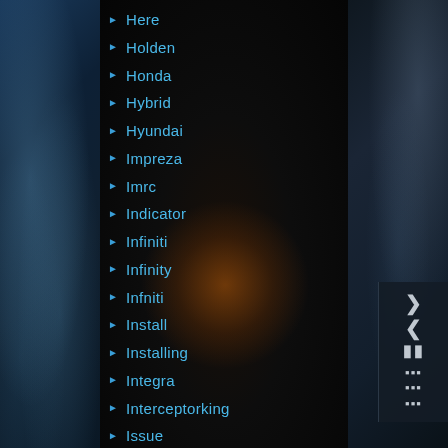[Figure (screenshot): Dark themed media player UI with a list of automotive/navigation menu items with blue text on dark background. Left panel shows water splash imagery, right panel shows metallic dotted texture with navigation controls.]
Here
Holden
Honda
Hybrid
Hyundai
Impreza
Imrc
Indicator
Infiniti
Infinity
Infniti
Install
Installing
Integra
Interceptorking
Issue
Isuzu
Iveco
Jaguar
Jaguarlandrover